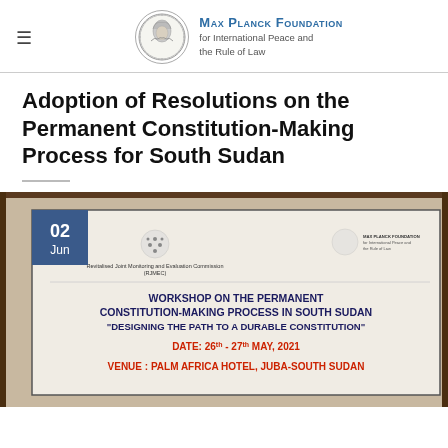Max Planck Foundation for International Peace and the Rule of Law
Adoption of Resolutions on the Permanent Constitution-Making Process for South Sudan
[Figure (photo): Banner at a workshop reading: WORKSHOP ON THE PERMANENT CONSTITUTION-MAKING PROCESS IN SOUTH SUDAN 'DESIGNING THE PATH TO A DURABLE CONSTITUTION' DATE: 26th - 27th MAY, 2021 VENUE: PALM AFRICA HOTEL, JUBA-SOUTH SUDAN. Date badge showing 02 Jun in top left corner.]